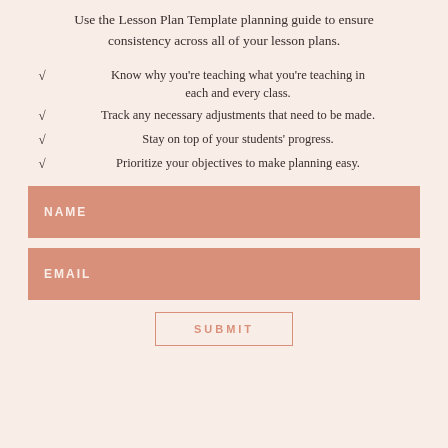Use the Lesson Plan Template planning guide to ensure consistency across all of your lesson plans.
Know why you're teaching what you're teaching in each and every class.
Track any necessary adjustments that need to be made.
Stay on top of your students' progress.
Prioritize your objectives to make planning easy.
NAME
EMAIL
SUBMIT